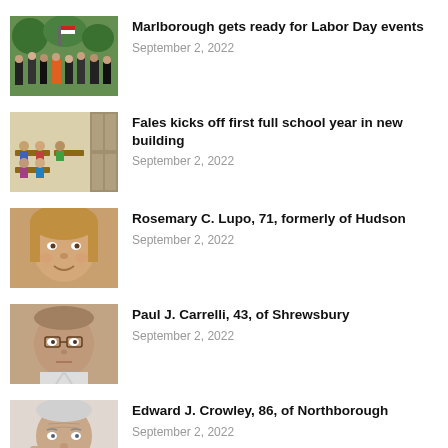[Figure (photo): Outdoor crowd scene, band or parade, trees and people]
Marlborough gets ready for Labor Day events
September 2, 2022
[Figure (photo): Classroom scene, children at desks]
Fales kicks off first full school year in new building
September 2, 2022
[Figure (photo): Portrait of a woman with blonde hair, smiling]
Rosemary C. Lupo, 71, formerly of Hudson
September 2, 2022
[Figure (photo): Portrait of a man wearing glasses]
Paul J. Carrelli, 43, of Shrewsbury
September 2, 2022
[Figure (photo): Portrait of an elderly man]
Edward J. Crowley, 86, of Northborough
September 2, 2022